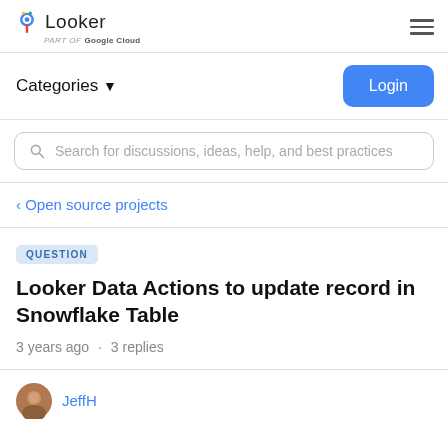Looker — part of Google Cloud
Categories ▾
Login
Search for discussions, ideas, help, and best practices
< Open source projects
QUESTION
Looker Data Actions to update record in Snowflake Table
3 years ago · 3 replies
JeffH